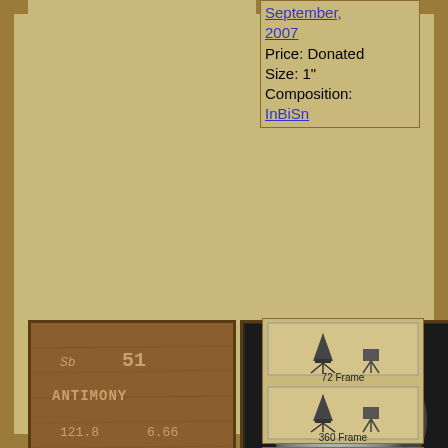Price: Donated
Size: 1"
Composition: InBiSn
[Figure (photo): Antimony element tile from periodic table display, wood with Sb 51 ANTIMONY 121.8 6.66 631 1587 text]
[Figure (photo): Silver-colored spherical antimony ball sample]
[Figure (photo): 72 Frame and 360 Frame views of antimony star target sample on tripod stands]
Antimony star target, (External Sample)
Location: Ethan Currens
Photographed: 4 September 2007
Text Updated: 8 February...